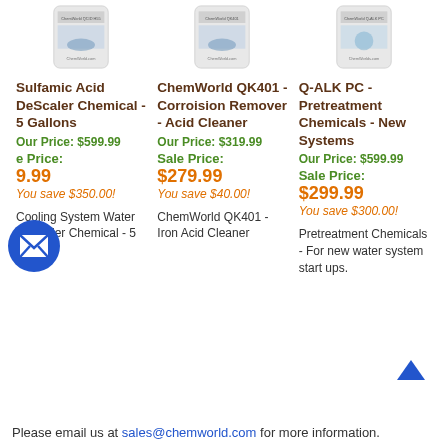[Figure (photo): Product image of ChemWorld QCID H55 container]
[Figure (photo): Product image of ChemWorld QK401 container]
[Figure (photo): Product image of ChemWorld Q-ALK PC container]
Sulfamic Acid DeScaler Chemical - 5 Gallons
Our Price: $599.99
Sale Price: $249.99
You save $350.00!
ChemWorld QK401 - Corroision Remover - Acid Cleaner
Our Price: $319.99
Sale Price: $279.99
You save $40.00!
Q-ALK PC - Pretreatment Chemicals - New Systems
Our Price: $599.99
Sale Price: $299.99
You save $300.00!
Cooling System Water DeScaler Chemical - 5 Gallons
ChemWorld QK401 - Iron Acid Cleaner
Pretreatment Chemicals - For new water system start ups.
Please email us at sales@chemworld.com for more information.